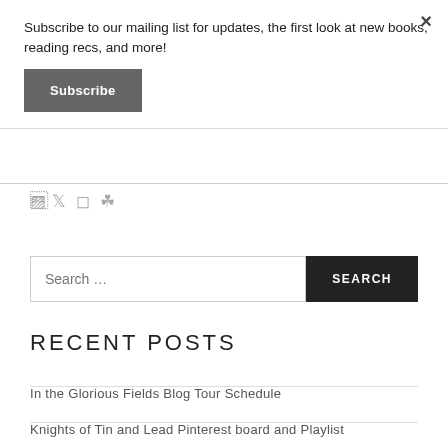Subscribe to our mailing list for updates, the first look at new books, reading recs, and more!
Subscribe
[Figure (illustration): Social media icons: Facebook, Twitter, Instagram, Pinterest]
Search …
RECENT POSTS
In the Glorious Fields Blog Tour Schedule
Knights of Tin and Lead Pinterest board and Playlist